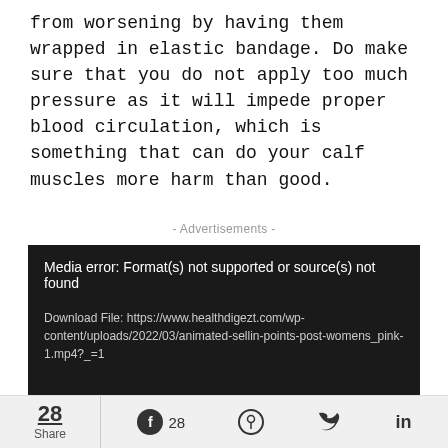from worsening by having them wrapped in elastic bandage. Do make sure that you do not apply too much pressure as it will impede proper blood circulation, which is something that can do your calf muscles more harm than good.
- Advertisements -
[Figure (screenshot): Media player error box with black background. Title: 'Media error: Format(s) not supported or source(s) not found'. Download link text: 'Download File: https://www.healthdigezt.com/wp-content/uploads/2022/03/animated-sellin-points-post-womens_pink-1.mp4?_=1']
28 Share  [Facebook] 28  [Pinterest]  [Twitter]  in